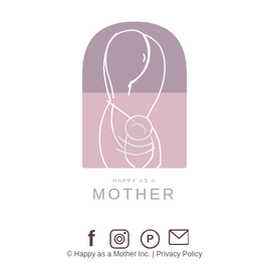[Figure (logo): Happy as a Mother logo: arched rectangle with line-art illustration of a mother holding a baby, in muted mauve and pink tones. Below the illustration: 'HAPPY AS A' in small spaced caps and 'MOTHER' in large spaced caps, both in muted grayish-mauve.]
[Figure (infographic): Social media icons row: Facebook (f), Instagram (camera), Pinterest (P in circle), Email (envelope), in dark mauve/purple color.]
© Happy as a Mother Inc. | Privacy Policy